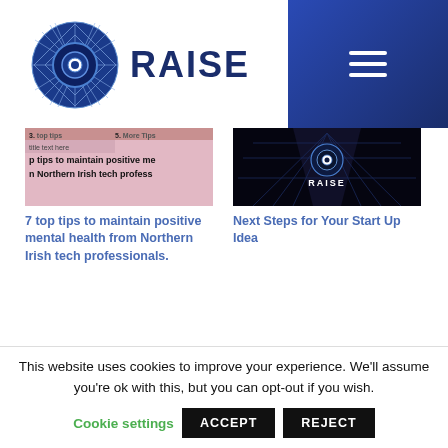[Figure (logo): RAISE logo with geometric blue circle icon and text RAISE]
[Figure (other): Hamburger menu button on dark blue gradient background]
[Figure (screenshot): Thumbnail for article about 7 top tips to maintain positive mental health from Northern Irish tech professionals, pink/mauve background]
7 top tips to maintain positive mental health from Northern Irish tech professionals.
[Figure (photo): Thumbnail for Next Steps for Your Start Up Idea showing RAISE logo lit up in dark corridor]
Next Steps for Your Start Up Idea
[Figure (photo): Partially visible photo of a light bulb on a chain in warm golden light]
This website uses cookies to improve your experience. We'll assume you're ok with this, but you can opt-out if you wish.
Cookie settings
ACCEPT
REJECT